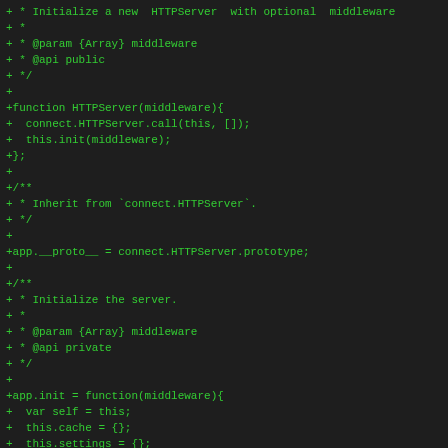+ * Initialize a new  HTTPServer  with optional  middleware
+ *
+ * @param {Array} middleware
+ * @api public
+ */
+
+function HTTPServer(middleware){
+  connect.HTTPServer.call(this, []);
+  this.init(middleware);
+};
+
+/**
+ * Inherit from `connect.HTTPServer`.
+ */
+
+app.__proto__ = connect.HTTPServer.prototype;
+
+/**
+ * Initialize the server.
+ *
+ * @param {Array} middleware
+ * @api private
+ */
+
+app.init = function(middleware){
+  var self = this;
+  this.cache = {};
+  this.settings = {};
+  this.redirects = {};
+  this.isCallbacks = {};
+  this._locals = {};
+  this.dynamicViewHelpers = {};
+  this....